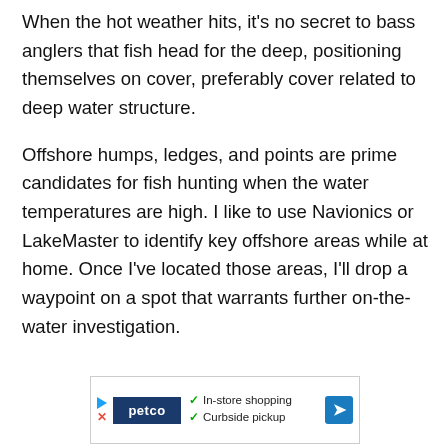When the hot weather hits, it's no secret to bass anglers that fish head for the deep, positioning themselves on cover, preferably cover related to deep water structure.
Offshore humps, ledges, and points are prime candidates for fish hunting when the water temperatures are high. I like to use Navionics or LakeMaster to identify key offshore areas while at home. Once I've located those areas, I'll drop a waypoint on a spot that warrants further on-the-water investigation.
[Figure (other): Petco advertisement banner showing in-store shopping and curbside pickup options with Petco logo, checkmarks, and navigation arrow icon]